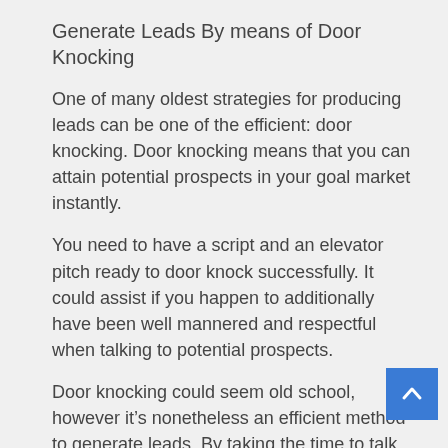Generate Leads By means of Door Knocking
One of many oldest strategies for producing leads can be one of the efficient: door knocking. Door knocking means that you can attain potential prospects in your goal market instantly.
You need to have a script and an elevator pitch ready to door knock successfully. It could assist if you happen to additionally have been well mannered and respectful when talking to potential prospects.
Door knocking could seem old school, however it’s nonetheless an efficient method to generate leads. By taking the time to talk with potential prospects instantly, you’ll be able to create a private connection that may result in a sale.
Generate Leads By means of Chilly Calling